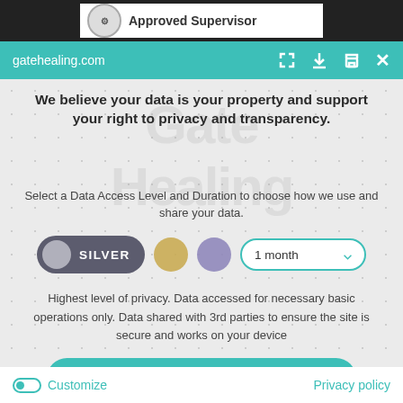[Figure (screenshot): Top black bar with a white badge showing a circular seal and 'Approved Supervisor' text]
gatehealing.com
We believe your data is your property and support your right to privacy and transparency.
Select a Data Access Level and Duration to choose how we use and share your data.
[Figure (infographic): Toggle row: Silver toggle pill, gold circle, purple circle, and '1 month' dropdown with teal border]
Highest level of privacy. Data accessed for necessary basic operations only. Data shared with 3rd parties to ensure the site is secure and works on your device
Save my preferences
Customize
Privacy policy